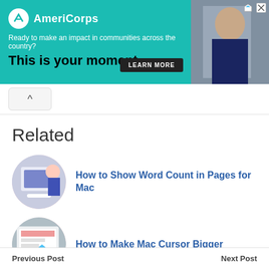[Figure (screenshot): AmeriCorps advertisement banner with teal background. Logo at top left, tagline 'Ready to make an impact in communities across the country?', headline 'This is your moment.', LEARN MORE button. Photo of person on right side.]
Related
How to Show Word Count in Pages for Mac
How to Make Mac Cursor Bigger
How to Download iCloud Photos via the Command Line
Previous Post    Next Post